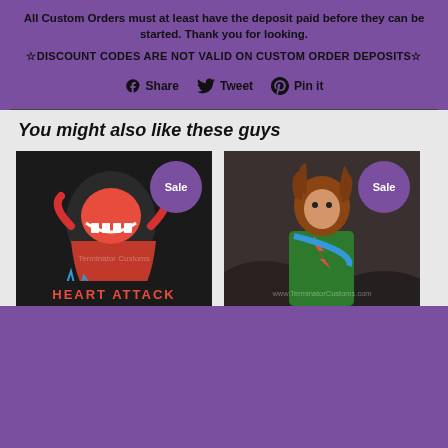All Custom Orders must at least have the deposit paid before they can be started. Thank you for looking.
☆DISCOUNT CODES ARE NOT VALID ON CUSTOM ORDER DEPOSITS☆
Share  Tweet  Pin it
You might also like these guys
[Figure (photo): Product photo of a Heart Attack character art piece with a black monster figure, sale badge]
[Figure (photo): Product photo of a David Bowie-style figurine in green and red with sale badge]